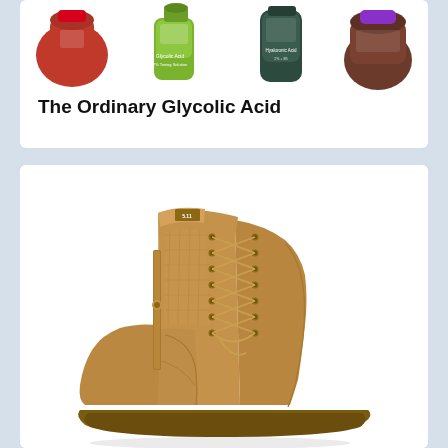[Figure (photo): Four skincare product bottles from The Ordinary arranged in a row against a white background]
The Ordinary Glycolic Acid
[Figure (photo): A tan/coyote brown military-style lace-up boot with suede and mesh construction, photographed against a white background]